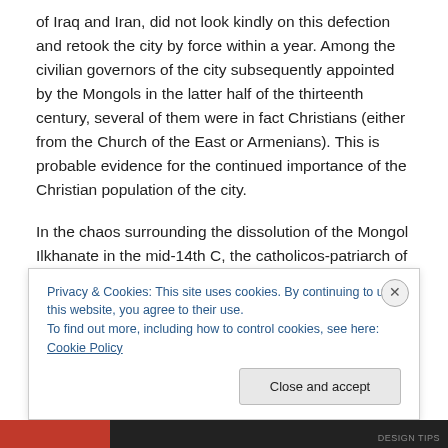of Iraq and Iran, did not look kindly on this defection and retook the city by force within a year.  Among the civilian governors of the city subsequently appointed by the Mongols in the latter half of the thirteenth century, several of them were in fact Christians (either from the Church of the East or Armenians).  This is probable evidence for the continued importance of the Christian population of the city.
In the chaos surrounding the dissolution of the Mongol Ilkhanate in the mid-14th C, the catholicos-patriarch of the
Privacy & Cookies: This site uses cookies. By continuing to use this website, you agree to their use.
To find out more, including how to control cookies, see here: Cookie Policy
Close and accept